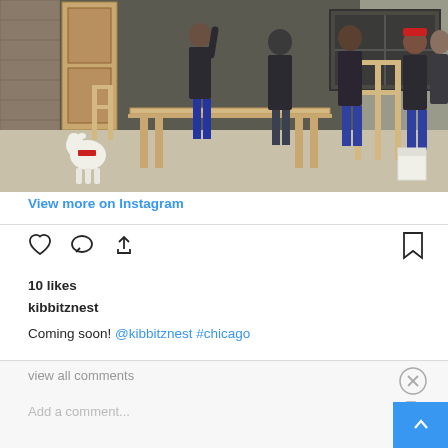[Figure (photo): Workshop/studio interior with four people standing among wooden furniture frames, a large workbench table in center, a small white dog with red bandana in foreground left, brick walls and windows in background.]
View more on Instagram
[Figure (other): Instagram action icons row: heart (like), comment bubble, share arrow, and bookmark icon on right]
10 likes
kibbitznest
Coming soon! @kibbitznest #chicago
view all comments
Add a comment...